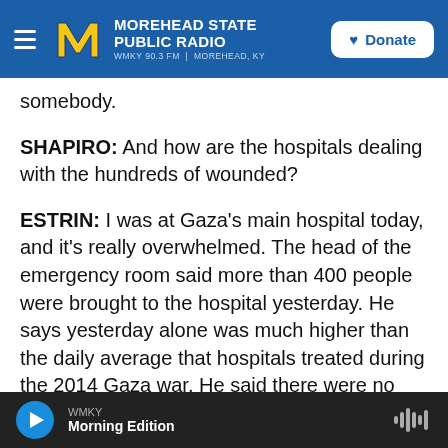Morehead State Public Radio — WMKY 90.3 FM | Morehead, KY — Donate
somebody.
SHAPIRO: And how are the hospitals dealing with the hundreds of wounded?
ESTRIN: I was at Gaza's main hospital today, and it's really overwhelmed. The head of the emergency room said more than 400 people were brought to the hospital yesterday. He says yesterday alone was much higher than the daily average that hospitals treated during the 2014 Gaza war. He said there were no free beds left. He said a dozen operating theaters are working 24/7. They've run
WMKY — Morning Edition